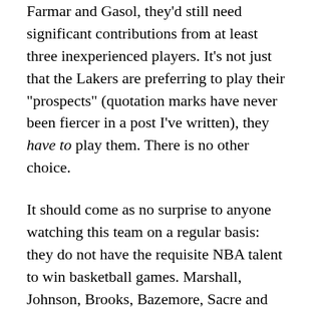Farmar and Gasol, they'd still need significant contributions from at least three inexperienced players. It's not just that the Lakers are preferring to play their "prospects" (quotation marks have never been fiercer in a post I've written), they have to play them. There is no other choice.
It should come as no surprise to anyone watching this team on a regular basis: they do not have the requisite NBA talent to win basketball games. Marshall, Johnson, Brooks, Bazemore, Sacre and Kelly might not crack the rotation on teams like the Golden State Warriors and Memphis Grizzlies...two squads that are lingering on the outskirts of the Western Conference playoff picture. It's not that I don't believe those six guys can find a place in NBA rotations at some point in their careers. It's that they wouldn't deserve one on...